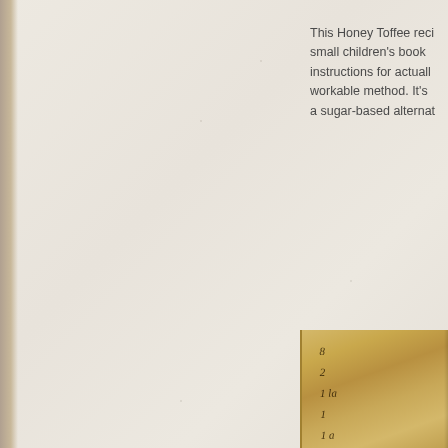This Honey Toffee reci small children's book instructions for actuall workable method. It's a sugar-based alternat
[Figure (photo): A partially visible aged handwritten recipe card or note, yellowed with brown tones, showing cursive handwriting with what appear to be ingredient quantities and notes. The card appears folded or stacked.]